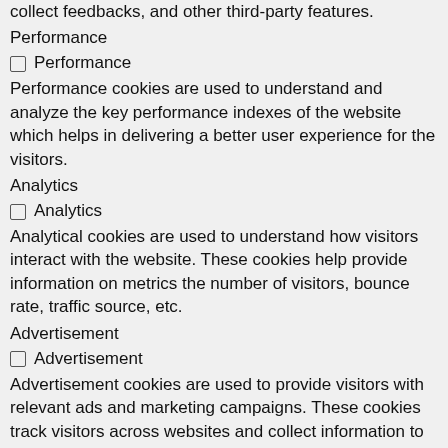collect feedbacks, and other third-party features.
Performance
Performance
Performance cookies are used to understand and analyze the key performance indexes of the website which helps in delivering a better user experience for the visitors.
Analytics
Analytics
Analytical cookies are used to understand how visitors interact with the website. These cookies help provide information on metrics the number of visitors, bounce rate, traffic source, etc.
Advertisement
Advertisement
Advertisement cookies are used to provide visitors with relevant ads and marketing campaigns. These cookies track visitors across websites and collect information to provide customized ads.
Others
Others
Other uncategorized cookies are those that are being analyzed